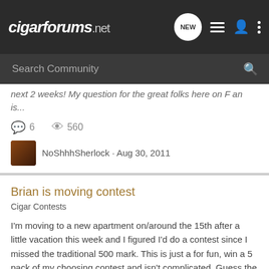cigarforums.net
Search Community
next 2 weeks! My question for the great folks here on F an is...
6  560  NoShhhSherlock · Aug 30, 2011  change  moving
Brian is moving contest
Cigar Contests
I'm moving to a new apartment on/around the 15th after a little vacation this week and I figured I'd do a contest since I missed the traditional 500 mark. This is just a for fun, win a 5 pack of my choosing contest and isn't complicated. Guess the number of bands in the bag! It is a quart...